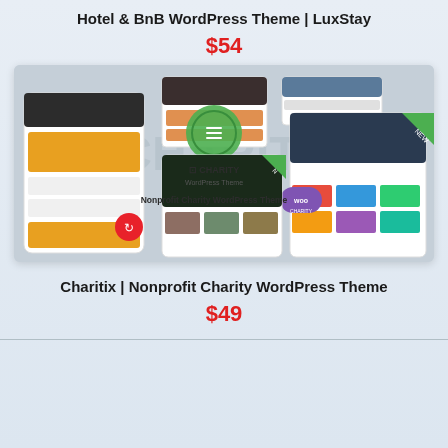Hotel & BnB WordPress Theme | LuxStay
$54
[Figure (screenshot): Screenshot of Charitix Nonprofit Charity WordPress Theme showing multiple device/page previews including mobile, tablet, and desktop layouts with charity-themed design elements, green badge, WooCommerce badge, and 'Nonprofit Charity WordPress Theme' text overlay]
Charitix | Nonprofit Charity WordPress Theme
$49